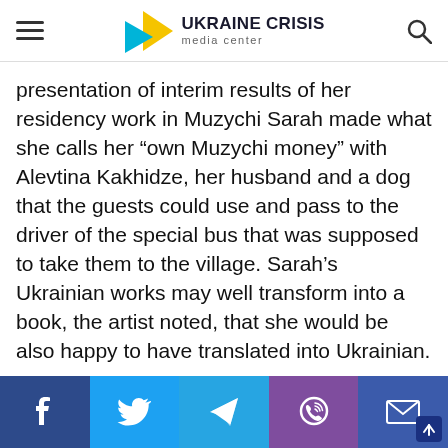UKRAINE CRISIS media center
presentation of interim results of her residency work in Muzychi Sarah made what she calls her “own Muzychi money” with Alevtina Kakhidze, her husband and a dog that the guests could use and pass to the driver of the special bus that was supposed to take them to the village. Sarah’s Ukrainian works may well transform into a book, the artist noted, that she would be also happy to have translated into Ukrainian.
[Figure (photo): Gray image placeholder at bottom of article]
[Figure (infographic): Social share bar with Facebook, Twitter, Telegram, Viber, and Email icons]